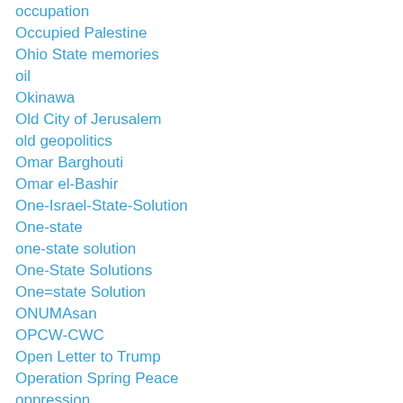occupation
Occupied Palestine
Ohio State memories
oil
Okinawa
Old City of Jerusalem
old geopolitics
Omar Barghouti
Omar el-Bashir
One-Israel-State-Solution
One-state
one-state solution
One-State Solutions
One=state Solution
ONUMAsan
OPCW-CWC
Open Letter to Trump
Operation Spring Peace
oppression
Oppressive Occupation